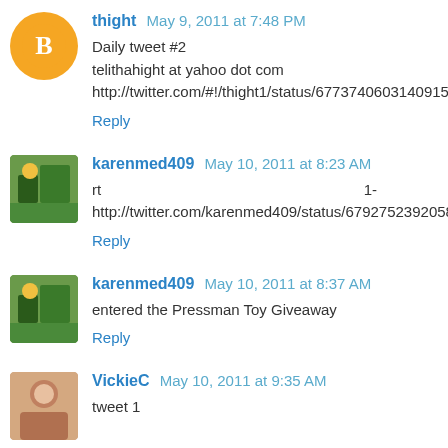thight May 9, 2011 at 7:48 PM
Daily tweet #2
telithahight at yahoo dot com
http://twitter.com/#!/thight1/status/67737406031409152
Reply
karenmed409 May 10, 2011 at 8:23 AM
rt 1-
http://twitter.com/karenmed409/status/67927523920584704
Reply
karenmed409 May 10, 2011 at 8:37 AM
entered the Pressman Toy Giveaway
Reply
VickieC May 10, 2011 at 9:35 AM
tweet 1